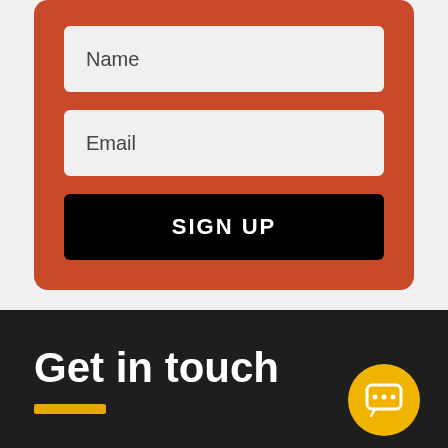[Figure (screenshot): Sign-up form on orange rounded card with Name field, Email field, and black SIGN UP button]
Get in touch
[Figure (illustration): Yellow horizontal decorative bar beneath Get in touch heading]
[Figure (illustration): Yellow circular chat bubble icon in bottom right corner]